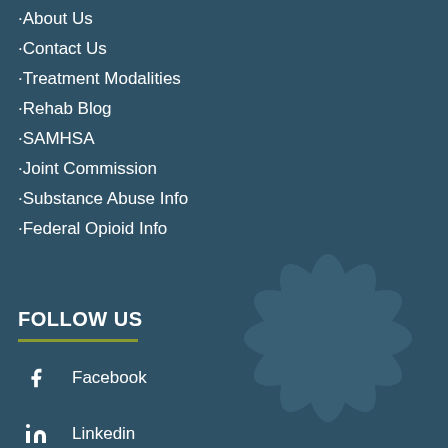About Us
Contact Us
Treatment Modalities
Rehab Blog
SAMHSA
Joint Commission
Substance Abuse Info
Federal Opioid Info
FOLLOW US
Facebook
Linkedin
Instagram